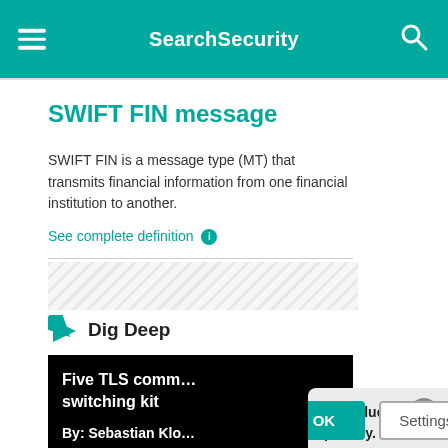SearchSecurity
SWIFT FIN message
SWIFT FIN is a message type (MT) that transmits financial information from one financial institution to another.
See complete definition ℹ
Dig Deep
[Figure (screenshot): Thumbnail card: Five TLS comm... switching kit, By: Sebastian Klo...]
We value your privacy. TechTarget and its partners employ cookies to improve your experience on our site, to analyze traffic and performance, and to serve personalized content and advertising that are relevant to your professional interests. You can manage your settings at any time. Please view our Privacy Policy for more information